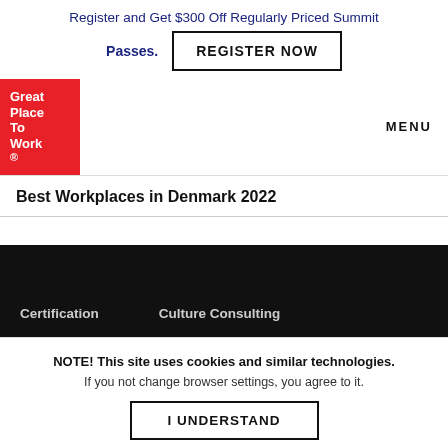Register and Get $300 Off Regularly Priced Summit
Passes.
REGISTER NOW
[Figure (logo): Great Place To Work red logo box with white text]
MENU
Best Workplaces in Denmark 2022
Certification
Culture Consulting
NOTE! This site uses cookies and similar technologies.
If you not change browser settings, you agree to it.
I UNDERSTAND